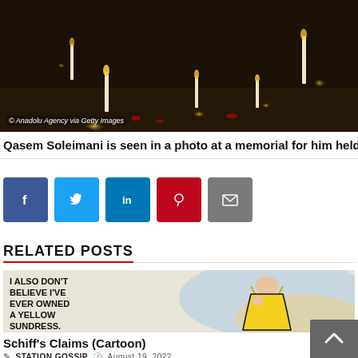[Figure (photo): Night-time memorial scene with lit candles on the ground, warm low light, dark background]
Qasem Soleimani is seen in a photo at a memorial for him held o
[Figure (other): Social media share buttons: Facebook (blue), Twitter (light blue), LinkedIn (dark blue), Pinterest (red), Email (gray)]
RELATED POSTS
[Figure (illustration): Cartoon illustration of a woman in a yellow sundress with speech bubble text: 'I ALSO DON'T BELIEVE I'VE EVER OWNED A YELLOW SUNDRESS.']
Schiff's Claims (Cartoon)
✎ STATION GOSSIP  🕐 August 19, 2022